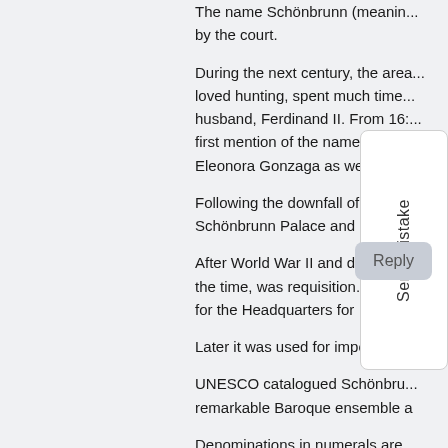The name Schönbrunn (meanin... by the court.
During the next century, the area... loved hunting, spent much time... husband, Ferdinand II. From 16:... first mention of the name "Schö... Eleonora Gonzaga as well.
Following the downfall of the m... Schönbrunn Palace and
After World War II and d... the time, was requisition... for the Headquarters for
Later it was used for important e
UNESCO catalogued Schönbru... remarkable Baroque ensemble a
Denominations in numerals are
Comments: